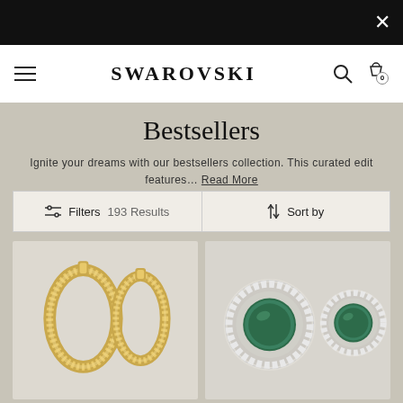Swarovski navigation bar with hamburger menu, SWAROVSKI logo, search icon, and cart icon (0 items)
Bestsellers
Ignite your dreams with our bestsellers collection. This curated edit features… Read More
Filters  193 Results  |  Sort by
[Figure (photo): Two gold hoop earrings with crystal pave detail]
[Figure (photo): Two round earrings with green crystal center surrounded by white crystal halo]